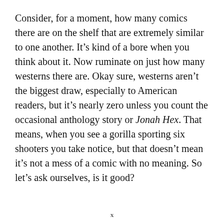Consider, for a moment, how many comics there are on the shelf that are extremely similar to one another. It's kind of a bore when you think about it. Now ruminate on just how many westerns there are. Okay sure, westerns aren't the biggest draw, especially to American readers, but it's nearly zero unless you count the occasional anthology story or Jonah Hex. That means, when you see a gorilla sporting six shooters you take notice, but that doesn't mean it's not a mess of a comic with no meaning. So let's ask ourselves, is it good?
x